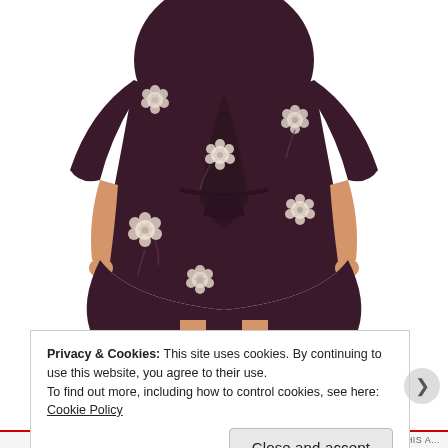[Figure (photo): A woman wearing a dark burgundy/plum long-sleeve wrap dress with white floral print pattern. The dress falls to midi length. She is wearing brown shoes. Only the torso and legs are visible, not the face. The background is white.]
Privacy & Cookies: This site uses cookies. By continuing to use this website, you agree to their use.
To find out more, including how to control cookies, see here: Cookie Policy
Close and accept